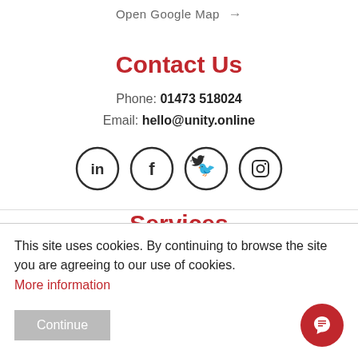Open Google Map →
Contact Us
Phone: 01473 518024
Email: hello@unity.online
[Figure (illustration): Four social media icons in circles: LinkedIn, Facebook, Twitter, Instagram]
Services
This site uses cookies. By continuing to browse the site you are agreeing to our use of cookies. More information
Continue